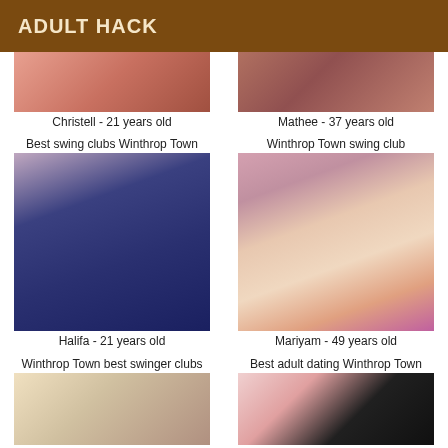ADULT HACK
[Figure (photo): Cropped photo - Christell]
Christell - 21 years old
[Figure (photo): Cropped photo - Mathee]
Mathee - 37 years old
Best swing clubs Winthrop Town
[Figure (photo): Photo of woman in blue bra - Halifa]
Halifa - 21 years old
Winthrop Town swing club
[Figure (illustration): Cartoon illustration - Mariyam]
Mariyam - 49 years old
Winthrop Town best swinger clubs
[Figure (photo): Photo - bottom left]
Best adult dating Winthrop Town
[Figure (illustration): Cartoon illustration - bottom right]